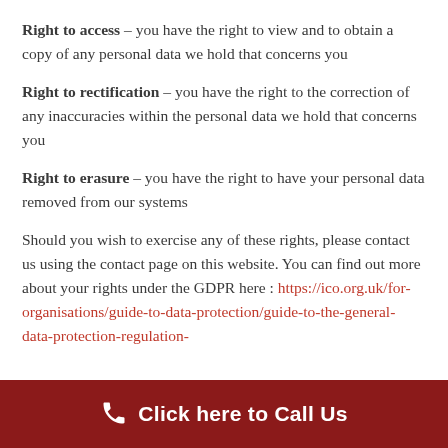Right to access – you have the right to view and to obtain a copy of any personal data we hold that concerns you
Right to rectification – you have the right to the correction of any inaccuracies within the personal data we hold that concerns you
Right to erasure – you have the right to have your personal data removed from our systems
Should you wish to exercise any of these rights, please contact us using the contact page on this website. You can find out more about your rights under the GDPR here : https://ico.org.uk/for-organisations/guide-to-data-protection/guide-to-the-general-data-protection-regulation-
Click here to Call Us